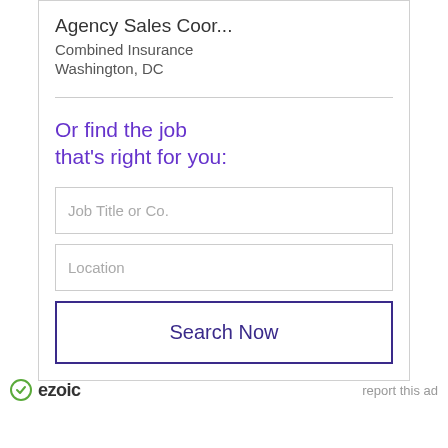Agency Sales Coor...
Combined Insurance
Washington, DC
Or find the job that's right for you:
[Figure (screenshot): Job search form with 'Job Title or Co.' input field, 'Location' input field, and 'Search Now' button]
ezoic   report this ad